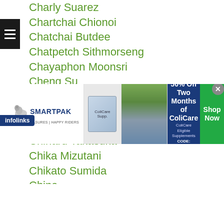Charly Suarez
Chartchai Chionoi
Chatchai Butdee
Chatpetch Sithmorseng
Chayaphon Moonsri
Cheng Su
Chia Ching Hung
Chiang Yi Hung
Chie Higano
Chiharu Takasuka
Chika Mizutani
Chikato Sumida
China
Chonlatarn Piriyapinyo
Chris John
Christian Araneta
Christian Basoled
[Figure (screenshot): SmartPak advertisement banner: 50% Off Two Months of ColiCare, ColiCare Eligible Supplements, CODE: COLICARE10, Shop Now button. Infolinks badge visible.]